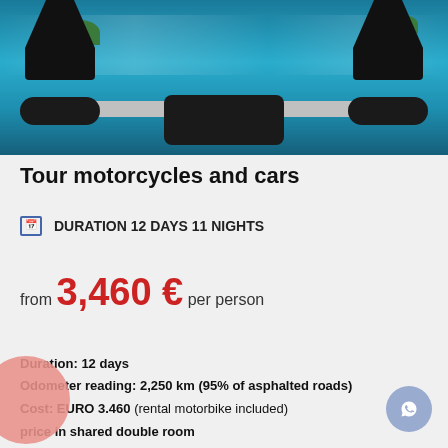[Figure (photo): Motorcycle handlebar view over blue water/sea, with mirrors on each side and waterfront scenery in background]
Tour motorcycles and cars
DURATION 12 DAYS 11 NIGHTS
from 3,460 € per person
Duration: 12 days
Odometer reading: 2,250 km (95% of asphalted roads)
Cost: EURO 3.460 (rental motorbike included)
price in shared double room